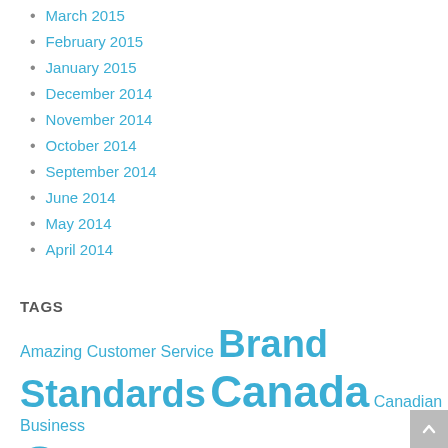March 2015
February 2015
January 2015
December 2014
November 2014
October 2014
September 2014
June 2014
May 2014
April 2014
TAGS
Amazing Customer Service Brand Standards Canada Canadian Business Customer Customer Experience Customer Relations Customer